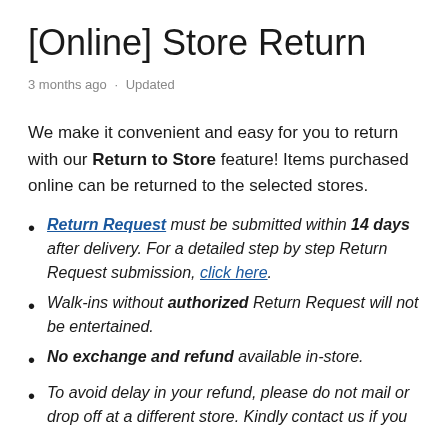[Online] Store Return
3 months ago · Updated
We make it convenient and easy for you to return with our Return to Store feature! Items purchased online can be returned to the selected stores.
Return Request must be submitted within 14 days after delivery. For a detailed step by step Return Request submission, click here.
Walk-ins without authorized Return Request will not be entertained.
No exchange and refund available in-store.
To avoid delay in your refund, please do not mail or drop off at a different store. Kindly contact us if you